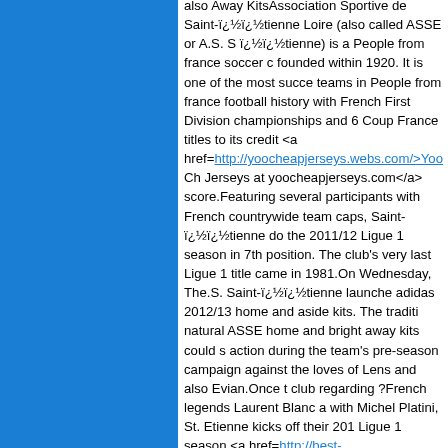also Away KitsAssociation Sportive de Saint-ï¿½ï¿½tienne Loire (also called ASSE or A.S. Sï¿½ï¿½tienne) is a People from france soccer club founded within 1920. It is one of the most successful teams in People from france football history with French First Division championships and 6 Coupe de France titles to its credit <a href=http://yoocheapjerseys.webs.com/>Yoo Cheap Jerseys at yoocheapjerseys.com</a> score.Featuring several participants with French countrywide team caps, Saint-ï¿½ï¿½tienne done the 2011/12 Ligue 1 season in 7th position. The club's very last Ligue 1 title came in 1981.On Wednesday, The.S. Saint-ï¿½ï¿½tienne launched adidas 2012/13 home and aside kits. The traditional natural ASSE home and bright away kits could see action during the team's pre-season campaign against the loves of Lens and also Evian.Once the club regarding ?French legends Laurent Blanc along with Michel Platini, St. Etienne kicks off their 2012/13 Ligue 1 season <a href=http://best-customjerseys.blogspot.com/>Custom NFL Jerseys Cheap</a> in opposition to Lille on August 11th.Check out our Products and Jerseys area for more of the newest soccer shirts.